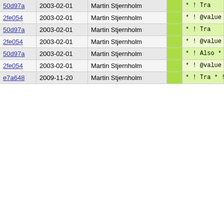| Hash | Date | Author |  | Code |
| --- | --- | --- | --- | --- |
| 50d97a | 2003-02-01 | Martin Stjernholm |  | * !    Tra |
| 2fe054 | 2003-02-01 | Martin Stjernholm |  | * !    @value |
| 50d97a | 2003-02-01 | Martin Stjernholm |  | * !    Tra |
| 2fe054 | 2003-02-01 | Martin Stjernholm |  | * !    @value |
| 50d97a | 2003-02-01 | Martin Stjernholm |  | * !    Also
* !    @endir
* !
* ! @param t
* !    Valid
* !
* !    @strin |
| 2fe054 | 2003-02-01 | Martin Stjernholm |  | * !    @value |
| e7a648 | 2009-11-20 | Martin Stjernholm |  | * !    Tra
* !    neve
* !    @dl
* !    @ite
* !    Tr
* !    @ite
* !    Ac
* !    hu
* !    tr
* !    so
* !    ha
* !    th
* !    @end |